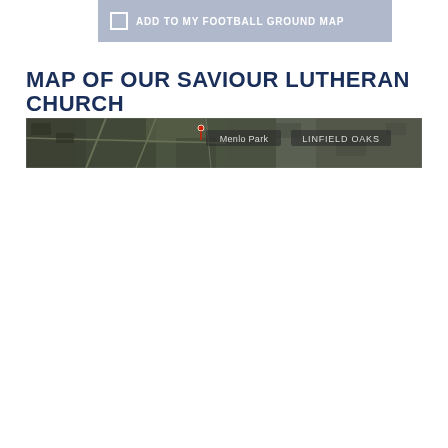[Figure (other): Button bar with checkbox icon and text 'ADD TO MY FOOTBALL GROUND MAP' on a grey-blue background]
MAP OF OUR SAVIOUR LUTHERAN CHURCH
[Figure (map): Aerial satellite map showing Menlo Park and Linfield Oaks neighborhood area]